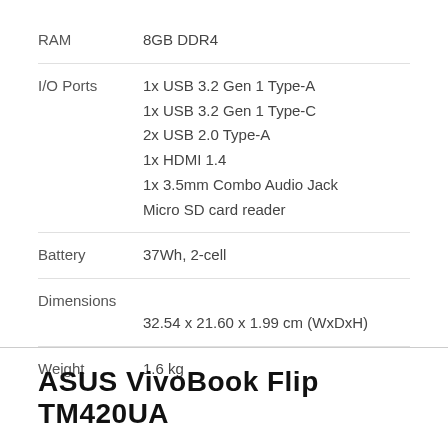| Spec | Value |
| --- | --- |
| RAM | 8GB DDR4 |
| I/O Ports | 1x USB 3.2 Gen 1 Type-A
1x USB 3.2 Gen 1 Type-C
2x USB 2.0 Type-A
1x HDMI 1.4
1x 3.5mm Combo Audio Jack
Micro SD card reader |
| Battery | 37Wh, 2-cell |
| Dimensions | 32.54 x 21.60 x 1.99 cm (WxDxH) |
| Weight | 1.6 kg |
ASUS VivoBook Flip TM420UA